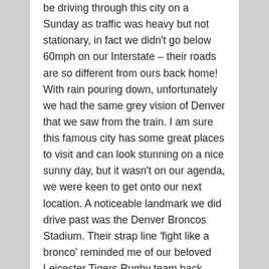be driving through this city on a Sunday as traffic was heavy but not stationary, in fact we didn't go below 60mph on our Interstate – their roads are so different from ours back home! With rain pouring down, unfortunately we had the same grey vision of Denver that we saw from the train. I am sure this famous city has some great places to visit and can look stunning on a nice sunny day, but it wasn't on our agenda, we were keen to get onto our next location. A noticeable landmark we did drive past was the Denver Broncos Stadium. Their strap line 'fight like a bronco' reminded me of our beloved Leicester Tigers Rugby team back home and the good old days of when we 'fought like Tigers' and were considered one of the best teams in the